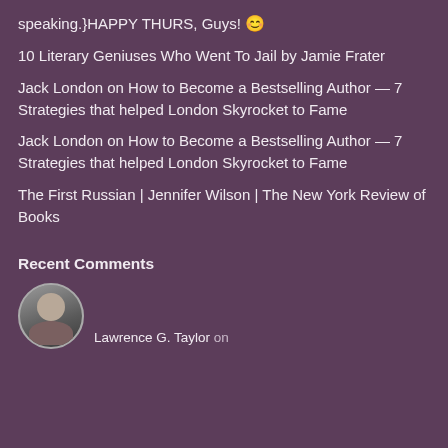speaking.}HAPPY THURS, Guys! 😊
10 Literary Geniuses Who Went To Jail by Jamie Frater
Jack London on How to Become a Bestselling Author — 7 Strategies that helped London Skyrocket to Fame
Jack London on How to Become a Bestselling Author — 7 Strategies that helped London Skyrocket to Fame
The First Russian | Jennifer Wilson | The New York Review of Books
Recent Comments
Lawrence G. Taylor on